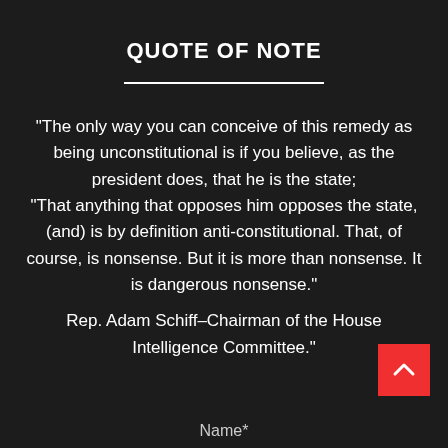QUOTE OF NOTE
“The only way you can conceive of this remedy as being unconstitutional is if you believe, as the president does, that he is the state; “That anything that opposes him opposes the state, (and) is by definition anti-constitutional. That, of course, is nonsense. But it is more than nonsense. It is dangerous nonsense.” Rep. Adam Schiff–Chairman of the House Intelligence Committee.”
Name*